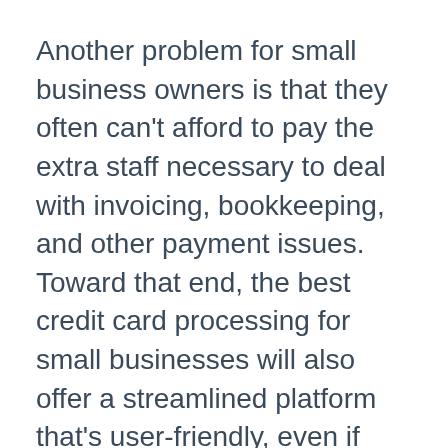Another problem for small business owners is that they often can't afford to pay the extra staff necessary to deal with invoicing, bookkeeping, and other payment issues. Toward that end, the best credit card processing for small businesses will also offer a streamlined platform that's user-friendly, even if your business is a one-person operation.
When looking for the most affordable and best credit card processing for small businesses, it's important to find a payment processor that can reduce these interchange